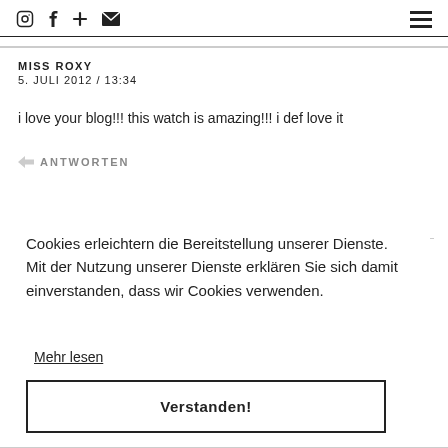ANTWORTEN
MISS ROXY
5. JULI 2012 / 13:34
i love your blog!!! this watch is amazing!!! i def love it
ANTWORTEN
Cookies erleichtern die Bereitstellung unserer Dienste. Mit der Nutzung unserer Dienste erklären Sie sich damit einverstanden, dass wir Cookies verwenden.
Mehr lesen
Verstanden!